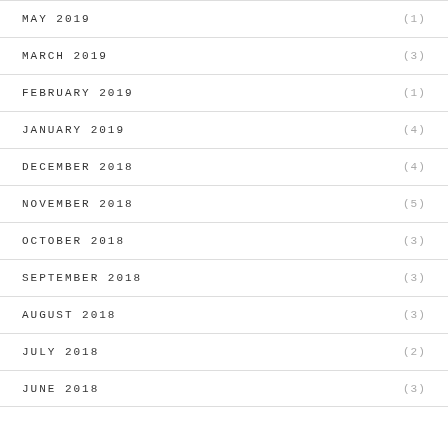MAY 2019 (1)
MARCH 2019 (3)
FEBRUARY 2019 (1)
JANUARY 2019 (4)
DECEMBER 2018 (4)
NOVEMBER 2018 (5)
OCTOBER 2018 (3)
SEPTEMBER 2018 (3)
AUGUST 2018 (3)
JULY 2018 (2)
JUNE 2018 (3)